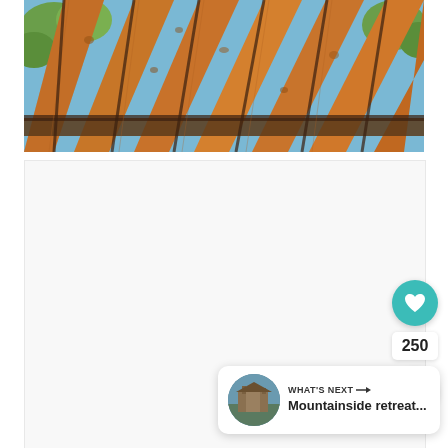[Figure (photo): Close-up photo of wooden pergola rafters viewed from below, showing parallel cedar/pine beams with visible wood grain and knots, with trees and blue sky visible between the beams]
[Figure (screenshot): White blank content area below the main photo, part of a web page layout, with UI overlay elements: a teal heart/like button showing count 250, a share button, and a 'What's Next' card showing 'Mountainside retreat...' with a small circular thumbnail image]
250
WHAT'S NEXT → Mountainside retreat...